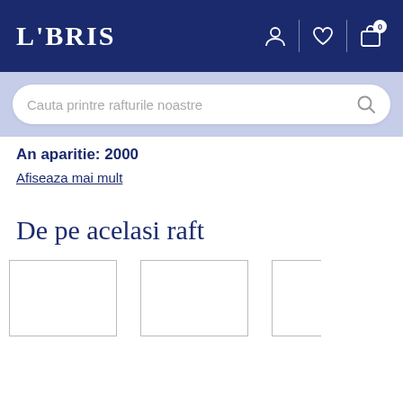LIBRIS
An aparitie: 2000
Afiseaza mai mult
De pe acelasi raft
[Figure (illustration): Three book cover placeholders (empty white rectangles with border) shown in a horizontal row at the bottom of the page.]